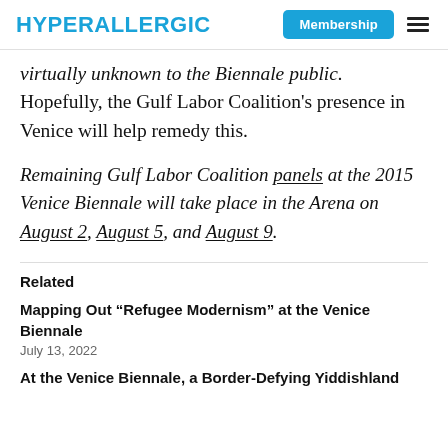HYPERALLERGIC | Membership
virtually unknown to the Biennale public. Hopefully, the Gulf Labor Coalition's presence in Venice will help remedy this.
Remaining Gulf Labor Coalition panels at the 2015 Venice Biennale will take place in the Arena on August 2, August 5, and August 9.
Related
Mapping Out “Refugee Modernism” at the Venice Biennale
July 13, 2022
At the Venice Biennale, a Border-Defying Yiddishland